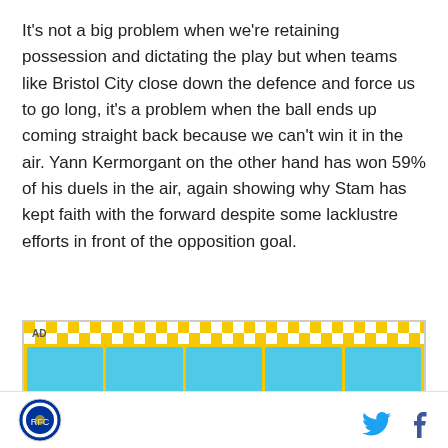It's not a big problem when we're retaining possession and dictating the play but when teams like Bristol City close down the defence and force us to go long, it's a problem when the ball ends up coming straight back because we can't win it in the air. Yann Kermorgant on the other hand has won 59% of his duels in the air, again showing why Stam has kept faith with the forward despite some lacklustre efforts in front of the opposition goal.
[Figure (other): Advertisement banner with yellow and blue checkerboard pattern, labeled AD]
Reading FC logo, Twitter icon, Facebook icon